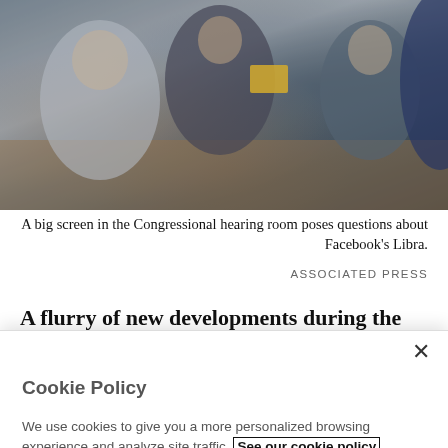[Figure (photo): A blurred photo of people in a Congressional hearing room, showing figures in suits gathered around a table, one holding a yellow envelope.]
A big screen in the Congressional hearing room poses questions about Facebook's Libra.
ASSOCIATED PRESS
A flurry of new developments during the past few days related to Libra, Facebook's proposed digital currency
Cookie Policy
We use cookies to give you a more personalized browsing experience and analyze site traffic. See our cookie policy
Accept all cookies
Cookies settings